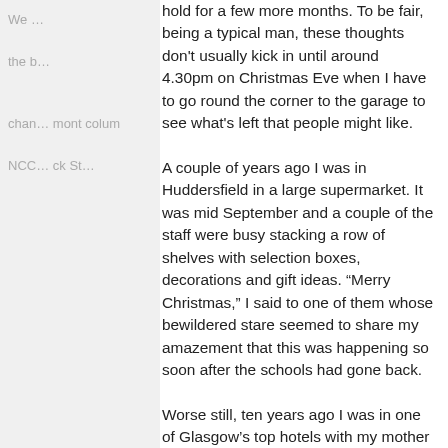hold for a few more months. To be fair, being a typical man, these thoughts don't usually kick in until around 4.30pm on Christmas Eve when I have to go round the corner to the garage to see what's left that people might like.
A couple of years ago I was in Huddersfield in a large supermarket. It was mid September and a couple of the staff were busy stacking a row of shelves with selection boxes, decorations and gift ideas. “Merry Christmas,” I said to one of them whose bewildered stare seemed to share my amazement that this was happening so soon after the schools had gone back.
Worse still, ten years ago I was in one of Glasgow’s top hotels with my mother and one of her friends. We were going in for